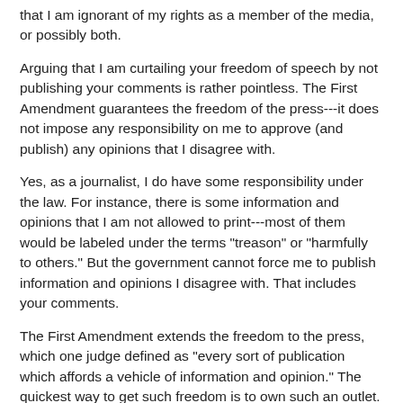that I am ignorant of my rights as a member of the media, or possibly both.
Arguing that I am curtailing your freedom of speech by not publishing your comments is rather pointless. The First Amendment guarantees the freedom of the press---it does not impose any responsibility on me to approve (and publish) any opinions that I disagree with.
Yes, as a journalist, I do have some responsibility under the law. For instance, there is some information and opinions that I am not allowed to print---most of them would be labeled under the terms "treason" or "harmfully to others." But the government cannot force me to publish information and opinions I disagree with. That includes your comments.
The First Amendment extends the freedom to the press, which one judge defined as "every sort of publication which affords a vehicle of information and opinion." The quickest way to get such freedom is to own such an outlet. May I suggest that you start a blog of your own---there you will be allowed to print all of your opinions---at least until you are